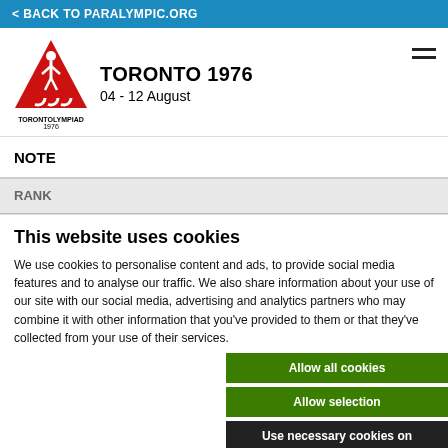< BACK TO PARALYMPIC.ORG
TORONTO 1976
04 - 12 August
NOTE
RANK
This website uses cookies
We use cookies to personalise content and ads, to provide social media features and to analyse our traffic. We also share information about your use of our site with our social media, advertising and analytics partners who may combine it with other information that you've provided to them or that they've collected from your use of their services.
Allow all cookies
Allow selection
Use necessary cookies on
essary  Preferences  Statistics  Show details
keting